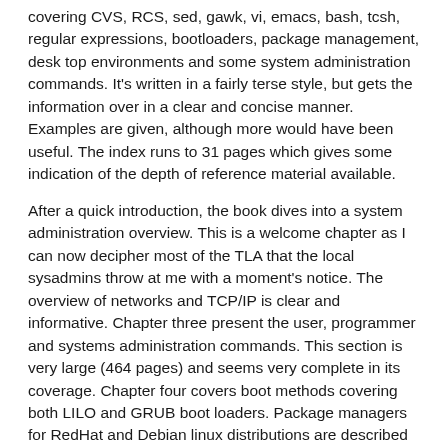covering CVS, RCS, sed, gawk, vi, emacs, bash, tcsh, regular expressions, bootloaders, package management, desk top environments and some system administration commands. It's written in a fairly terse style, but gets the information over in a clear and concise manner. Examples are given, although more would have been useful. The index runs to 31 pages which gives some indication of the depth of reference material available.
After a quick introduction, the book dives into a system administration overview. This is a welcome chapter as I can now decipher most of the TLA that the local sysadmins throw at me with a moment's notice. The overview of networks and TCP/IP is clear and informative. Chapter three present the user, programmer and systems administration commands. This section is very large (464 pages) and seems very complete in its coverage. Chapter four covers boot methods covering both LILO and GRUB boot loaders. Package managers for RedHat and Debian linux distributions are described in chapter five. Chapters on shell, bash and tcsh, sed, gawk, emacs and vi follow. RCS is covered and then CVS. The chapter on CVS is very good and gives a concise overview of what CVS is and the commands. The book then shifts away from the terse command style to cover window managers. GNOME, KDE and fvwm2 are described in some detail.